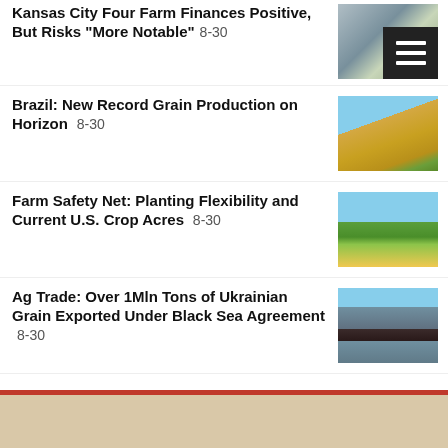Kansas City Four Farm Finances Positive, But Risks “More Notable” 8-30
[Figure (photo): Grain elevator / silo with menu icon overlay]
Brazil: New Record Grain Production on Horizon 8-30
[Figure (photo): Grain being poured from harvester onto pile in field]
Farm Safety Net: Planting Flexibility and Current U.S. Crop Acres 8-30
[Figure (photo): Green crop rows in agricultural field under blue sky]
Ag Trade: Over 1Mln Tons of Ukrainian Grain Exported Under Black Sea Agreement 8-30
[Figure (photo): Large cargo ship on water]